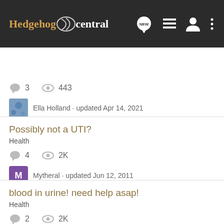[Figure (screenshot): Hedgehog Central forum navigation bar with logo, NEW chat icon, list icon, user icon, and menu icon on dark background]
[Figure (screenshot): Search Community search bar on dark grey background]
3  443
Ella Holland · updated Apr 14, 2021
Possibly not a UTI?
Health
4  2K
Mytheral · updated Jun 12, 2011
blood in urine! need help asap!
Health
2  2K